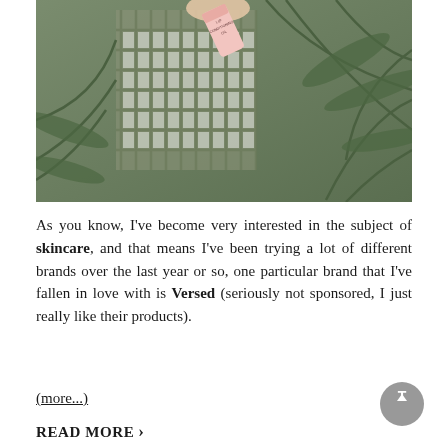[Figure (photo): A hand holding a small pink tube of lip conditioning oil above a wicker basket with tropical green palm leaves in the background.]
As you know, I've become very interested in the subject of skincare, and that means I've been trying a lot of different brands over the last year or so, one particular brand that I've fallen in love with is Versed (seriously not sponsored, I just really like their products).
(more...)
READ MORE